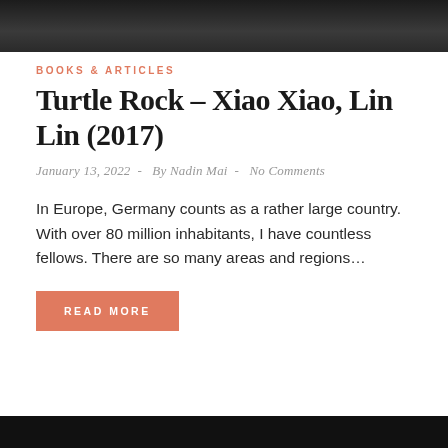[Figure (photo): Dark textured stone or rock surface, top portion of page]
BOOKS & ARTICLES
Turtle Rock – Xiao Xiao, Lin Lin (2017)
January 13, 2022  -  By Nadin Mai  -  No Comments
In Europe, Germany counts as a rather large country. With over 80 million inhabitants, I have countless fellows. There are so many areas and regions…
READ MORE
[Figure (photo): Dark black surface, bottom portion of page]